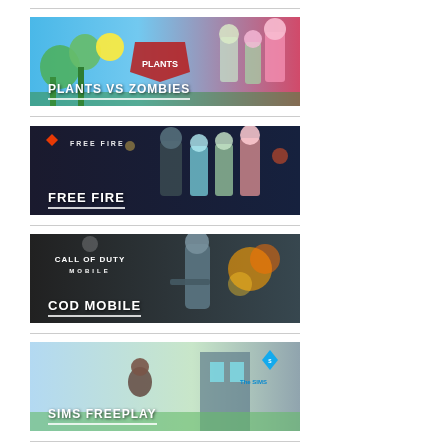[Figure (illustration): Plants vs Zombies game promotional banner with colorful cartoon plants and zombies, title overlay 'PLANTS VS ZOMBIES']
[Figure (illustration): Free Fire game promotional banner with characters in colorful outfits, title overlay 'FREE FIRE']
[Figure (illustration): Call of Duty Mobile game promotional banner with game logo and action scene, title overlay 'COD MOBILE']
[Figure (illustration): Sims FreePlay game promotional banner with suburban scene and Sims logo, title overlay 'SIMS FREEPLAY']
[Figure (illustration): Clash of Clans game promotional banner partially visible at bottom with game logo]